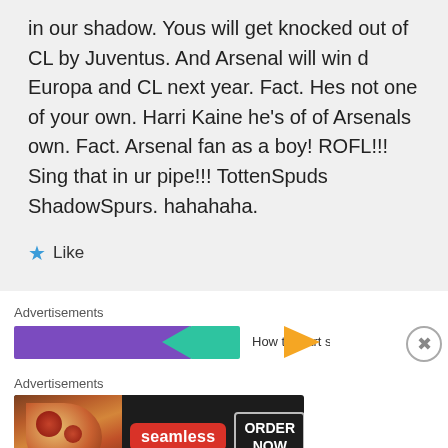in our shadow. Yous will get knocked out of CL by Juventus. And Arsenal will win d Europa and CL next year. Fact. Hes not one of your own. Harri Kaine he's of of Arsenals own. Fact. Arsenal fan as a boy! ROFL!!! Sing that in ur pipe!!! TottenSpuds ShadowSpurs. hahahaha.
Like
Advertisements
[Figure (screenshot): Advertisement banner with purple background, green arrow shape, orange arrow shape, and partial text 'How to start selling']
Advertisements
[Figure (screenshot): Seamless food delivery advertisement with pizza image, seamless logo in red, and ORDER NOW button]